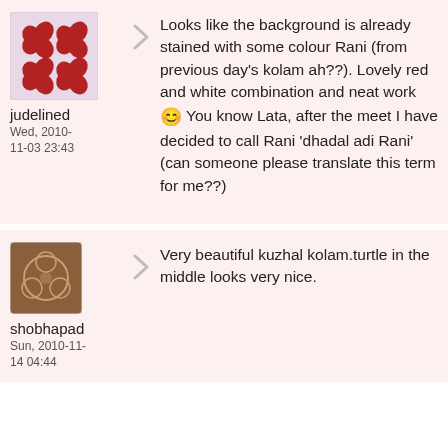[Figure (photo): User avatar for judelined showing red X pattern on pink background]
judelined
Wed, 2010-11-03 23:43
Looks like the background is already stained with some colour Rani (from previous day's kolam ah??). Lovely red and white combination and neat work 😊 You know Lata, after the meet I have decided to call Rani 'dhadal adi Rani' (can someone please translate this term for me??)
[Figure (photo): User avatar for shobhapad showing circular pattern on brown background]
shobhapad
Sun, 2010-11-14 04:44
Very beautiful kuzhal kolam.turtle in the middle looks very nice.